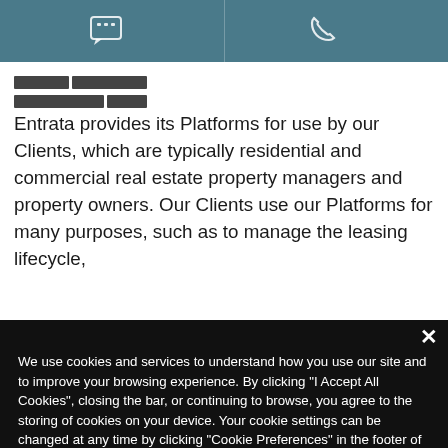[Figure (screenshot): Navigation bar with chat icon (left) and phone icon (right) on dark teal background, separated by a vertical divider line]
Entrata provides its Platforms for use by our Clients, which are typically residential and commercial real estate property managers and property owners. Our Clients use our Platforms for many purposes, such as to manage the leasing lifecycle,
We use cookies and services to understand how you use our site and to improve your browsing experience. By clicking "I Accept All Cookies", closing the bar, or continuing to browse, you agree to the storing of cookies on your device. Your cookie settings can be changed at any time by clicking "Cookie Preferences" in the footer of this site. To find out more, please view our Privacy Policy
Cookie Preferences
I Accept All Cookies